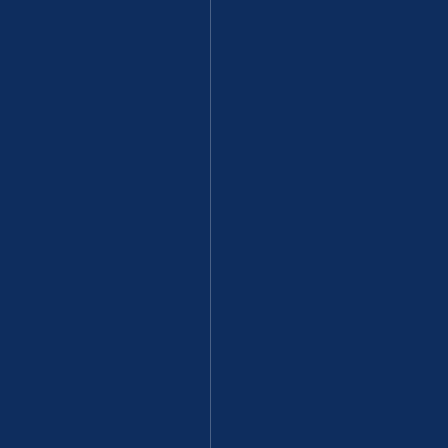versyovertranslationsofsoftthepoem